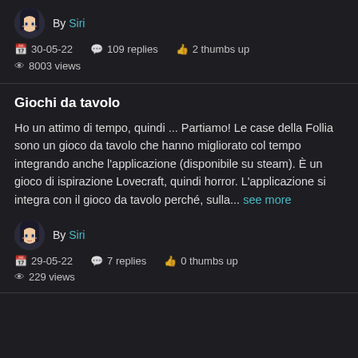[Figure (illustration): Anime-style avatar of user Siri, top portion showing]
By Siri
30-05-22   109 replies   2 thumbs up
8003 views
Giochi da tavolo
Ho un attimo di tempo, quindi ... Partiamo! Le case della Follia sono un gioco da tavolo che hanno migliorato col tempo integrando anche l'applicazione (disponibile su steam). È un gioco di ispirazione Lovecraft, quindi horror. L'applicazione si integra con il gioco da tavolo perché, sulla... see more
[Figure (illustration): Anime-style avatar of user Siri]
By Siri
29-05-22   7 replies   0 thumbs up
229 views